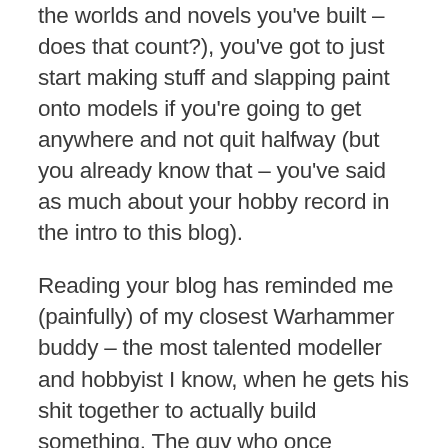the worlds and novels you've built – does that count?), you've got to just start making stuff and slapping paint onto models if you're going to get anywhere and not quit halfway (but you already know that – you've said as much about your hobby record in the intro to this blog).
Reading your blog has reminded me (painfully) of my closest Warhammer buddy – the most talented modeller and hobbyist I know, when he gets his shit together to actually build something. The guy who once sculpted from scratch a picture-perfect replica of a THE Adrian Smith Emperor's Children Noise Marine, who hasn't then produced another finished model in about 8 years. It's not because he's out of the hobby – instead, every day we have shades of the same, endless, fruitless conversation searching